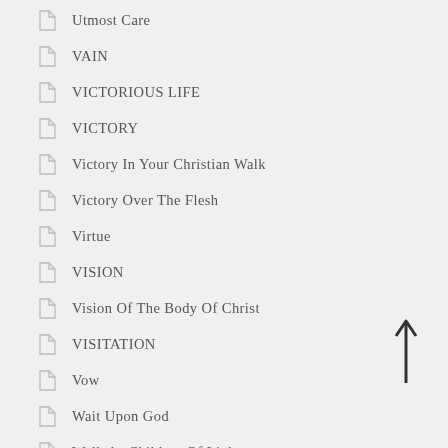Utmost Care
VAIN
VICTORIOUS LIFE
VICTORY
Victory In Your Christian Walk
Victory Over The Flesh
Virtue
VISION
Vision Of The Body Of Christ
VISITATION
Vow
Wait Upon God
Walk As Children Of Light
Warning
Warning Against Carnal Responses